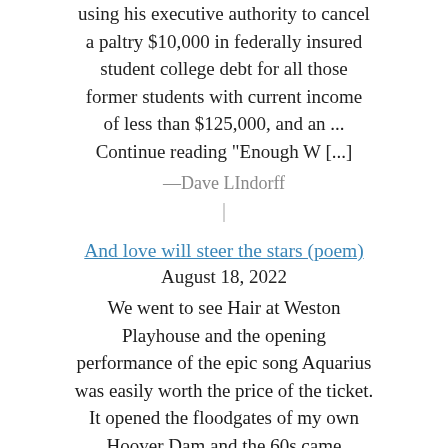using his executive authority to cancel a paltry $10,000 in federally insured student college debt for all those former students with current income of less than $125,000, and an ... Continue reading "Enough W [...]
—Dave LIndorff
|
And love will steer the stars (poem)
August 18, 2022
We went to see Hair at Weston Playhouse and the opening performance of the epic song Aquarius was easily worth the price of the ticket. It opened the floodgates of my own Hoover Dam and the 60s came